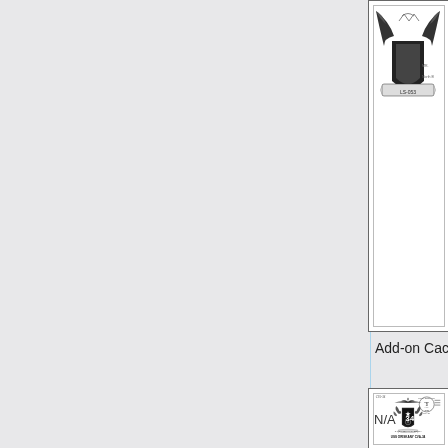[Figure (illustration): Top portion of a military first day cover envelope showing a shield/crest emblem with wings and the text 'LS-053' on a banner, partially visible. Address text partially visible on right side reading 'MR.' followed by partial address with 'North B...']
Add-on Cachet.
[Figure (illustration): First day cover envelope for USS Oriskany CVA-34. Shows an elaborate coat of arms/crest with an eagle at top, two sea creatures/dragons on sides, shield with number '34' and a star design, scroll at bottom reading 'SI VIS PACEM - PARA BELLUM'. Below crest text reads 'USS ORISKANY CVA-34'. Upper left handwritten 'CVA-34'. Upper right shows circular postmark 'U.S.S. ORISKANY SEP 3 A.M. 1969 CVA 34' with cancel lines.]
N/A